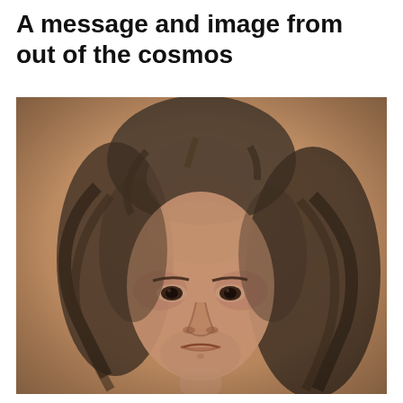A message and image from out of the cosmos
[Figure (illustration): A charcoal or pencil sketch portrait of a young girl or child with long wavy dark hair, large eyes, and a solemn expression, rendered on a warm tan/sepia background. The style is classical drawing, reminiscent of old master sketches.]